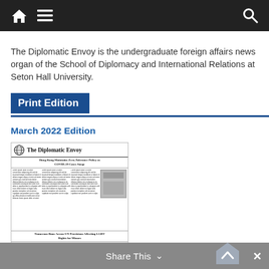Navigation bar with home, menu, and search icons
The Diplomatic Envoy is the undergraduate foreign affairs news organ of the School of Diplomacy and International Relations at Seton Hall University.
Print Edition
March 2022 Edition
[Figure (photo): Thumbnail image of The Diplomatic Envoy newspaper front page, showing the masthead 'The Diplomatic Envoy' with globe icon, and articles including headlines about Hong Kong maintaining zero-tolerance policy as COVID-19 cases surge, and numerous bans across UN provisions affecting LGBT rights for minors.]
Share This ∨